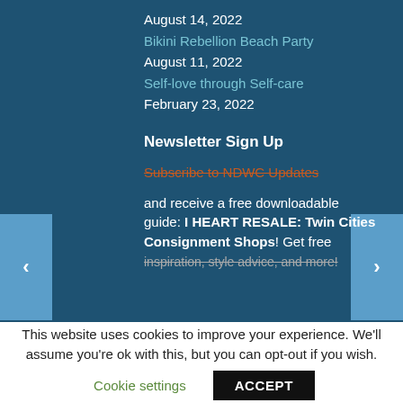August 14, 2022
Bikini Rebellion Beach Party
August 11, 2022
Self-love through Self-care
February 23, 2022
Newsletter Sign Up
Subscribe to NDWC Updates and receive a free downloadable guide: I HEART RESALE: Twin Cities Consignment Shops! Get free inspiration, style advice, and more!
This website uses cookies to improve your experience. We'll assume you're ok with this, but you can opt-out if you wish.
Cookie settings
ACCEPT